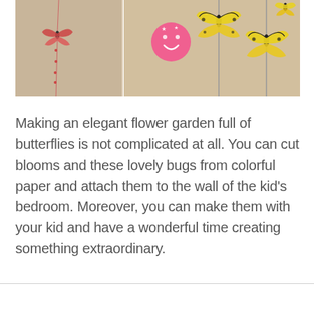[Figure (photo): Photo collage showing paper butterfly crafts hanging on a wall — left panel shows a small red/pink butterfly on strings against a tan wood background; right panel shows yellow paper butterflies and a pink smiley face button on sticks against the same background.]
Making an elegant flower garden full of butterflies is not complicated at all. You can cut blooms and these lovely bugs from colorful paper and attach them to the wall of the kid's bedroom. Moreover, you can make them with your kid and have a wonderful time creating something extraordinary.